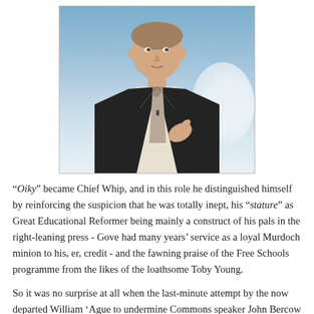[Figure (photo): Photograph of a man in a dark suit with a light tie, against a blue sky background with clouds, appearing to gesture with one hand near his face.]
“Oiky” became Chief Whip, and in this role he distinguished himself by reinforcing the suspicion that he was totally inept, his “stature” as Great Educational Reformer being mainly a construct of his pals in the right-leaning press - Gove had many years’ service as a loyal Murdoch minion to his, er, credit - and the fawning praise of the Free Schools programme from the likes of the loathsome Toby Young.
So it was no surprise at all when the last-minute attempt by the now departed William ‘Ague to undermine Commons speaker John Bercow backfired, leaving Master ‘Ague and the rest of the Government front bench covered